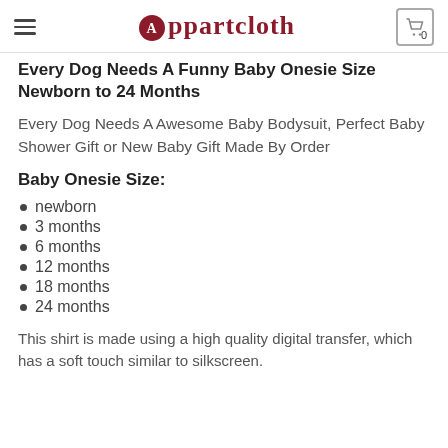Appartcloth
Every Dog Needs A Funny Baby Onesie Size Newborn to 24 Months
Every Dog Needs A Awesome Baby Bodysuit, Perfect Baby Shower Gift or New Baby Gift Made By Order
Baby Onesie Size:
newborn
3 months
6 months
12 months
18 months
24 months
This shirt is made using a high quality digital transfer, which has a soft touch similar to silkscreen.